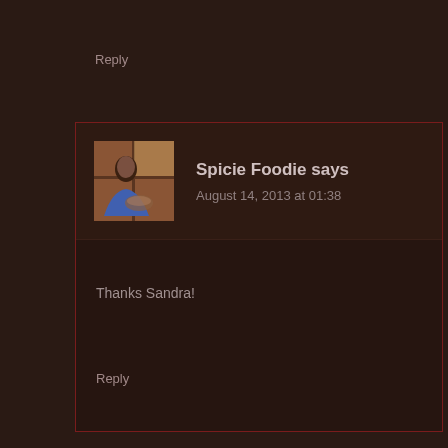Reply
Spicie Foodie says
August 14, 2013 at 01:38
Thanks Sandra!
Reply